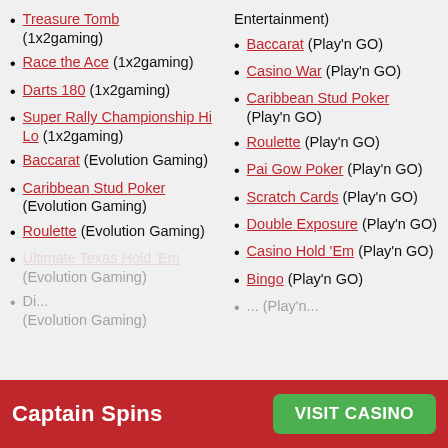Treasure Tomb (1x2gaming)
Race the Ace (1x2gaming)
Darts 180 (1x2gaming)
Super Rally Championship Hi Lo (1x2gaming)
Baccarat (Evolution Gaming)
Caribbean Stud Poker (Evolution Gaming)
Roulette (Evolution Gaming)
Ultimate Texas Hold 'Em (Evolution Gaming)
Entertainment)
Baccarat (Play'n GO)
Casino War (Play'n GO)
Caribbean Stud Poker (Play'n GO)
Roulette (Play'n GO)
Pai Gow Poker (Play'n GO)
Scratch Cards (Play'n GO)
Double Exposure (Play'n GO)
Casino Hold 'Em (Play'n GO)
Bingo (Play'n GO)
Captain Spins  VISIT CASINO